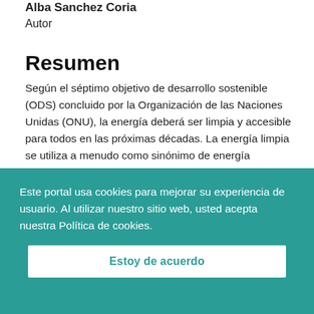Alba Sanchez Coria
Autor
Resumen
Según el séptimo objetivo de desarrollo sostenible (ODS) concluido por la Organización de las Naciones Unidas (ONU), la energía deberá ser limpia y accesible para todos en las próximas décadas. La energía limpia se utiliza a menudo como sinónimo de energía renovable (ER)...
Este portal usa cookies para mejorar su experiencia de usuario. Al utilizar nuestro sitio web, usted acepta nuestra Política de cookies.
Estoy de acuerdo
fotovoltaica (SEPV), el tipo más común de ERs